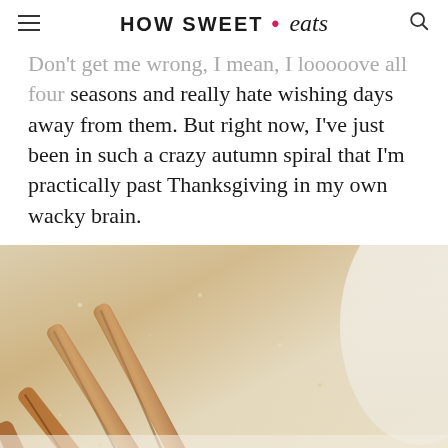HOW SWEET • eats
Don't get me wrong, I mean, I looooove all four seasons and really hate wishing days away from them. But right now, I've just been in such a crazy autumn spiral that I'm practically past Thanksgiving in my own wacky brain.
[Figure (photo): Close-up photo of churros or cinnamon-sugar coated fried pastry strips in a white bowl with cinnamon sugar coating]